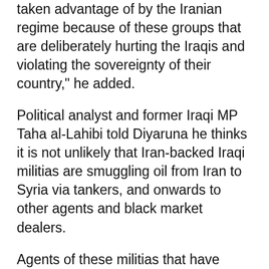taken advantage of by the Iranian regime because of these groups that are deliberately hurting the Iraqis and violating the sovereignty of their country," he added.
Political analyst and former Iraqi MP Taha al-Lahibi told Diyaruna he thinks it is not unlikely that Iran-backed Iraqi militias are smuggling oil from Iran to Syria via tankers, and onwards to other agents and black market dealers.
Agents of these militias that have infiltrated Iraqi state institutions are playing a major role in both smuggling oil into Iraq from Iran and flooding the Iraqi market with other Iranian goods, al-Lahibi said.
He pointed to recent media reports that accused Iran loyalists of "giving infrastructure